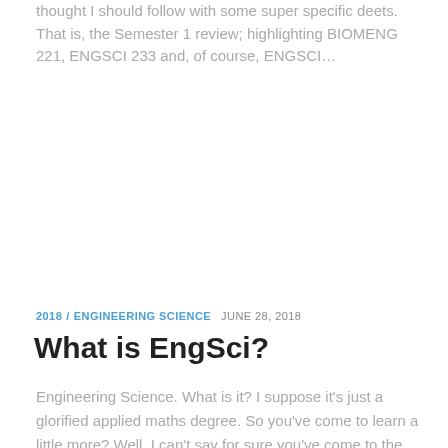thought I should follow with some super specific deets. That is, the Semester 1 review; highlighting BIOMENG 221, ENGSCI 233 and, of course, ENGSCI...
2018 / ENGINEERING SCIENCE  JUNE 28, 2018
What is EngSci?
Engineering Science. What is it? I suppose it's just a glorified applied maths degree. So you've come to learn a little more? Well, I can't say for sure you've come to the right place...